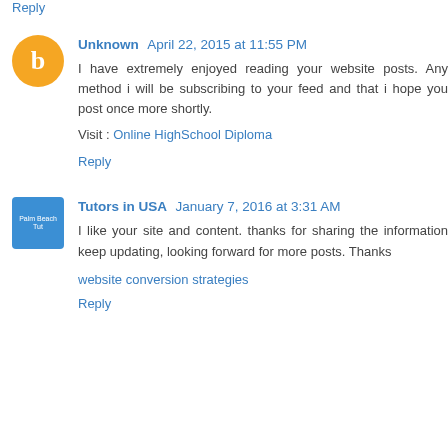Reply
Unknown  April 22, 2015 at 11:55 PM
I have extremely enjoyed reading your website posts. Any method i will be subscribing to your feed and that i hope you post once more shortly.
Visit : Online HighSchool Diploma
Reply
Tutors in USA  January 7, 2016 at 3:31 AM
I like your site and content. thanks for sharing the information keep updating, looking forward for more posts. Thanks
website conversion strategies
Reply